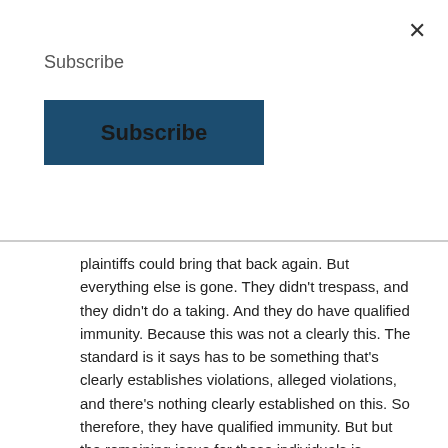Subscribe
plaintiffs could bring that back again. But everything else is gone. They didn't trespass, and they didn't do a taking. And they do have qualified immunity. Because this was not a clearly this. The standard is it says has to be something that's clearly establishes violations, alleged violations, and there's nothing clearly established on this. So therefore, they have qualified immunity. But but the remaining issue for these individuals is whether or not this is private property of government right away and the court seems to be telegraphic that they have stamp authority so far, for their assertion that this is right away.